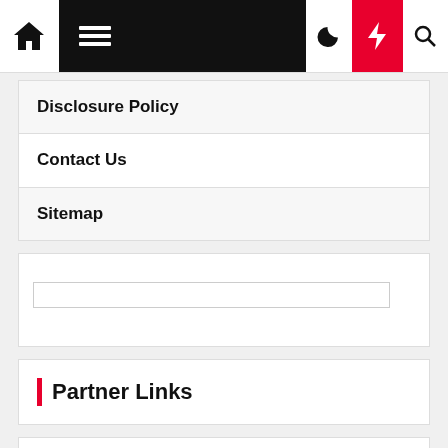Navigation bar with home, menu, moon, bolt, and search icons
Disclosure Policy
Contact Us
Sitemap
[Figure (other): Widget block with a text input field]
Partner Links
Visit Now